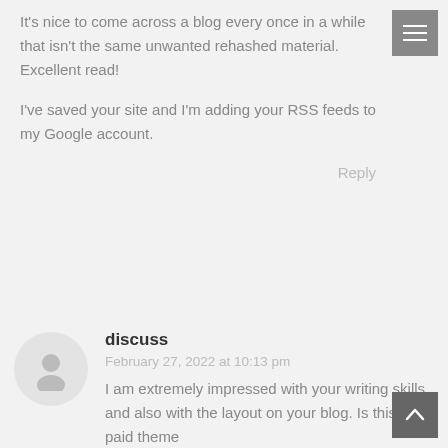It's nice to come across a blog every once in a while that isn't the same unwanted rehashed material. Excellent read!
I've saved your site and I'm adding your RSS feeds to my Google account.
Reply
[Figure (illustration): Generic user avatar — grey silhouette of a person inside a light grey circle]
discuss
February 27, 2022 at 10:13 pm
I am extremely impressed with your writing skills and also with the layout on your blog. Is this a paid theme